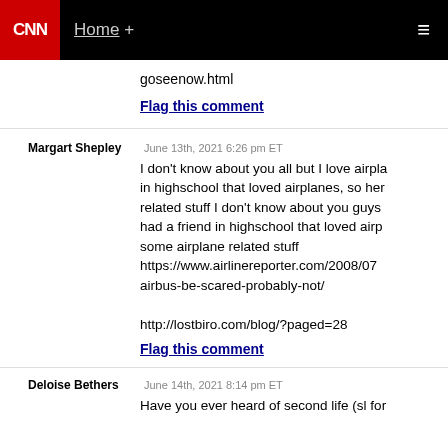CNN Home +
goseenow.html
Flag this comment
Margart Shepley   June 13th, 2021 6:26 pm ET
I don't know about you all but I love airplanes, had a friend in highschool that loved airplanes, so here some airplane related stuff I don't know about you guys but I had a friend in highschool that loved airplanes some airplane related stuff https://www.airlinereporter.com/2008/07/airbus-be-scared-probably-not/

http://lostbiro.com/blog/?paged=28
Flag this comment
Deloise Bethers   June 14th, 2021 8:14 pm ET
Have you ever heard of second life (sl for